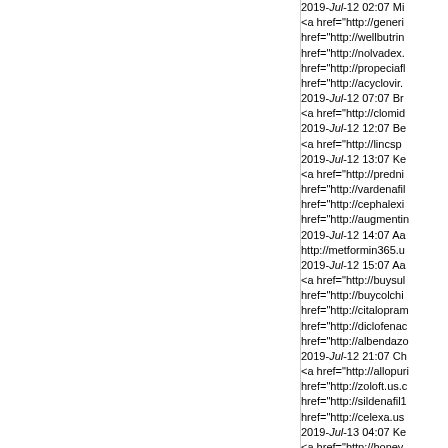2019-Jul-12 02:07 Mi
<a href="http://generi
href="http://wellbutrin
href="http://nolvadex.
href="http://propeciafl
href="http://acyclovir.
2019-Jul-12 07:07 Br
<a href="http://clomid
2019-Jul-12 12:07 Be
<a href="http://lincsp
2019-Jul-12 13:07 Ke
<a href="http://predni
href="http://vardenafil
href="http://cephalexi
href="http://augmentin
2019-Jul-12 14:07 Aa
http://metformin365.u
2019-Jul-12 15:07 Aa
<a href="http://buysul
href="http://buycolchi
href="http://citalopra
href="http://diclofen
href="http://albendaz
2019-Jul-12 21:07 Ch
<a href="http://allopuri
href="http://zoloft.us.c
href="http://sildenafil1
href="http://celexa.us
2019-Jul-13 04:07 Ke
<a href="http://honey-
2019-Jul-13 05:07 Aa
http://arimidex.compa